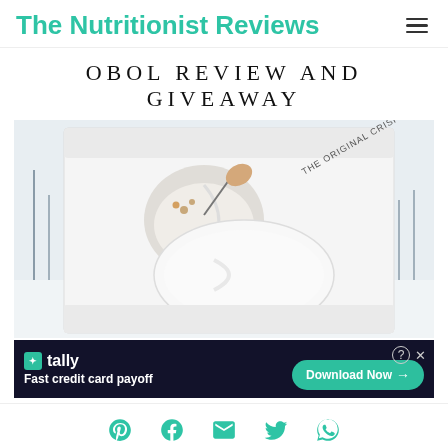The Nutritionist Reviews
OBOL REVIEW AND GIVEAWAY
[Figure (photo): Product photo of the OBOL Original Crispy Bowl - a white ceramic bowl with a divided design, shown in its packaging box with a snowy outdoor background. The box shows an illustration of hands using the bowl with cereal and text 'THE ORIGINAL CRISPY BOWL']
[Figure (infographic): Advertisement banner for Tally app - dark background with tally logo, text 'Fast credit card payoff' and a green 'Download Now' button with arrow]
[Figure (infographic): Social media icon bar with Pinterest, Facebook, Email, Twitter, and WhatsApp icons in teal/green color]